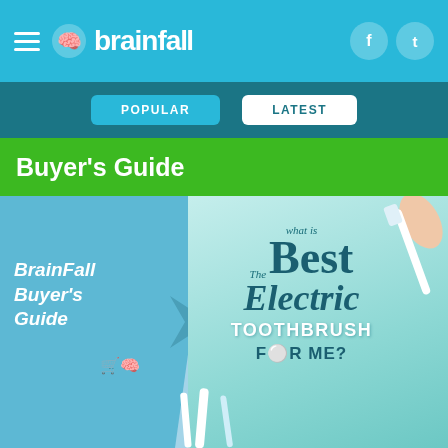brainfall - navigation bar with hamburger menu and social icons (Facebook, Twitter)
POPULAR | LATEST
Buyer's Guide
[Figure (illustration): BrainFall Buyer's Guide article card showing 'What is The Best Electric Toothbrush For Me?' with a hand holding an electric toothbrush on a teal/light blue background, overlaid with BrainFall Buyer's Guide branding on the left side]